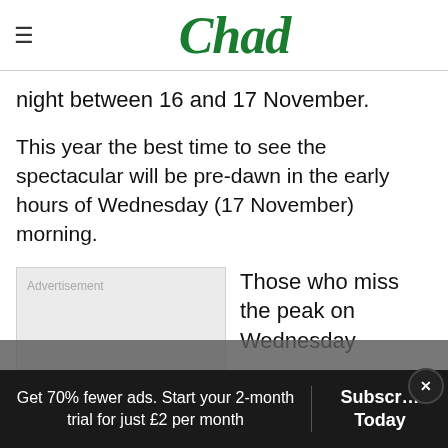Chad
night between 16 and 17 November.
This year the best time to see the spectacular will be pre-dawn in the early hours of Wednesday (17 November) morning.
[Figure (other): Advertisement placeholder box]
Those who miss the peak on Wednesday
Get 70% fewer ads. Start your 2-month trial for just £2 per month   Subscribe Today